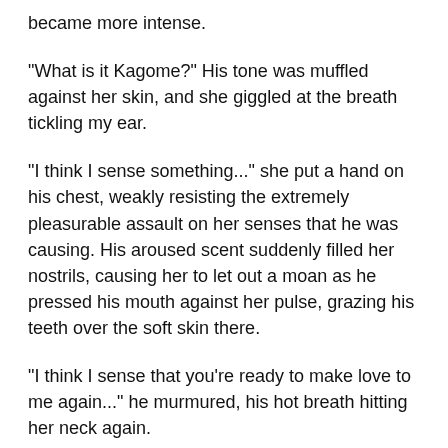became more intense.
"What is it Kagome?" His tone was muffled against her skin, and she giggled at the breath tickling my ear.
"I think I sense something..." she put a hand on his chest, weakly resisting the extremely pleasurable assault on her senses that he was causing. His aroused scent suddenly filled her nostrils, causing her to let out a moan as he pressed his mouth against her pulse, grazing his teeth over the soft skin there.
"I think I sense that you're ready to make love to me again..." he murmured, his hot breath hitting her neck again.
"No...a demon..."